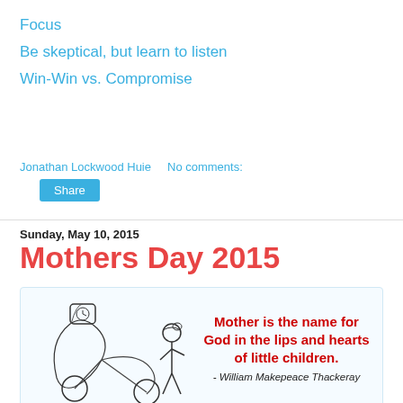Focus
Be skeptical, but learn to listen
Win-Win vs. Compromise
Jonathan Lockwood Huie    No comments:
Share
Sunday, May 10, 2015
Mothers Day 2015
[Figure (illustration): Illustration with a clock/bicycle mechanism on the left and a child figure on the right, with a quote: 'Mother is the name for God in the lips and hearts of little children. - William Makepeace Thackeray' in red bold text.]